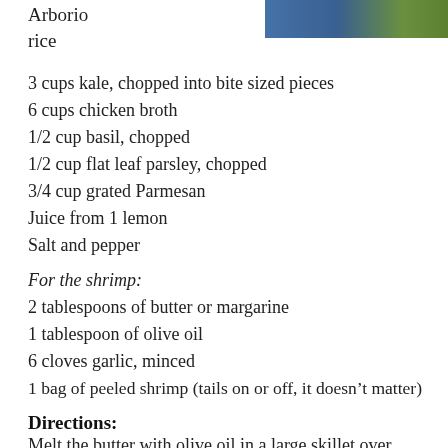[Figure (photo): Partial food/recipe photo at top of page showing colorful ingredients]
Arborio
rice
3 cups kale, chopped into bite sized pieces
6 cups chicken broth
1/2 cup basil, chopped
1/2 cup flat leaf parsley, chopped
3/4 cup grated Parmesan
Juice from 1 lemon
Salt and pepper
For the shrimp:
2 tablespoons of butter or margarine
1 tablespoon of olive oil
6 cloves garlic, minced
1 bag of peeled shrimp (tails on or off, it doesn’t matter)
Directions:
Melt the butter with olive oil in a large skillet over medium-high heat. Add the cloves and stir in a skillet over